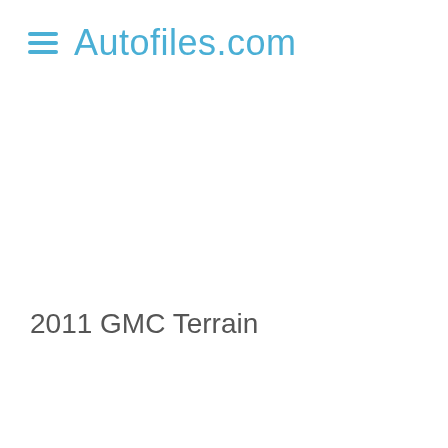Autofiles.com
2011 GMC Terrain